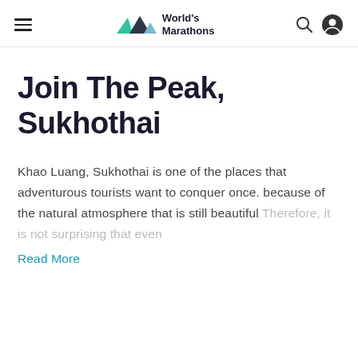World's Marathons
Join The Peak, Sukhothai
Khao Luang, Sukhothai is one of the places that adventurous tourists want to conquer once. because of the natural atmosphere that is still beautiful Therefore, it is not surprising that even
Read More